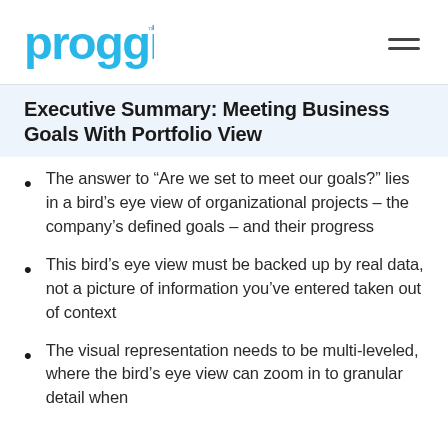proggio
Executive Summary: Meeting Business Goals With Portfolio View
The answer to “Are we set to meet our goals?” lies in a bird’s eye view of organizational projects – the company’s defined goals – and their progress
This bird’s eye view must be backed up by real data, not a picture of information you’ve entered taken out of context
The visual representation needs to be multi-leveled, where the bird’s eye view can zoom in to granular detail when